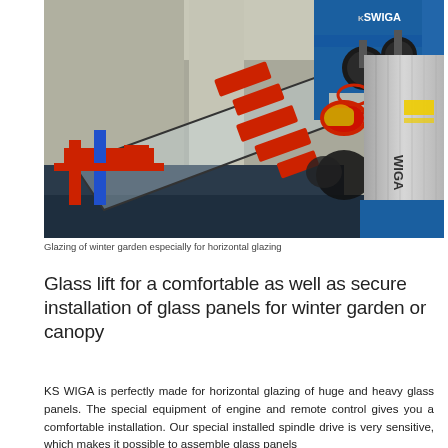[Figure (photo): Industrial photo showing a glass lift machine (KS WIGA) being used for horizontal glazing of winter garden glass panels. The machine is blue and red, with suction cups gripping a large glass panel. Aluminum profiles are stacked vertically on the right side. Red branded graphics visible on the glass.]
Glazing of winter garden especially for horizontal glazing
Glass lift for a comfortable as well as secure installation of glass panels for winter garden or canopy
KS WIGA is perfectly made for horizontal glazing of huge and heavy glass panels. The special equipment of engine and remote control gives you a comfortable installation. Our special installed spindle drive is very sensitive, which makes it possible to assemble glass panels